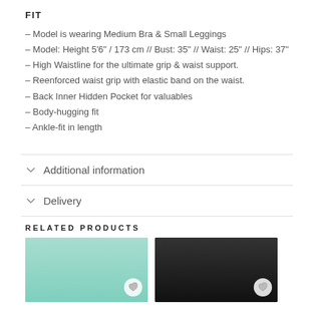FIT
– Model is wearing Medium Bra & Small Leggings
– Model: Height 5'6" / 173 cm // Bust: 35" // Waist: 25" // Hips: 37"
– High Waistline for the ultimate grip & waist support.
– Reenforced waist grip with elastic band on the waist.
– Back Inner Hidden Pocket for valuables
– Body-hugging fit
– Ankle-fit in length
Additional information
Delivery
RELATED PRODUCTS
[Figure (photo): Product photo of mint/turquoise leggings on model]
[Figure (photo): Product photo of black leggings on model]